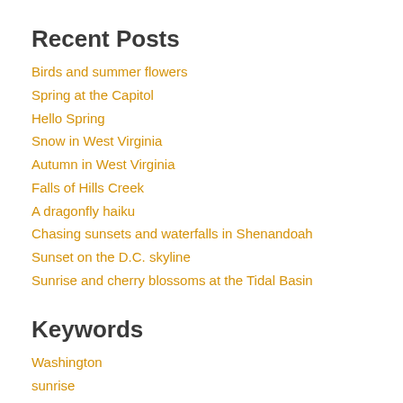Recent Posts
Birds and summer flowers
Spring at the Capitol
Hello Spring
Snow in West Virginia
Autumn in West Virginia
Falls of Hills Creek
A dragonfly haiku
Chasing sunsets and waterfalls in Shenandoah
Sunset on the D.C. skyline
Sunrise and cherry blossoms at the Tidal Basin
Keywords
Washington
sunrise
landscape
nature
scenic
Capitol
summer